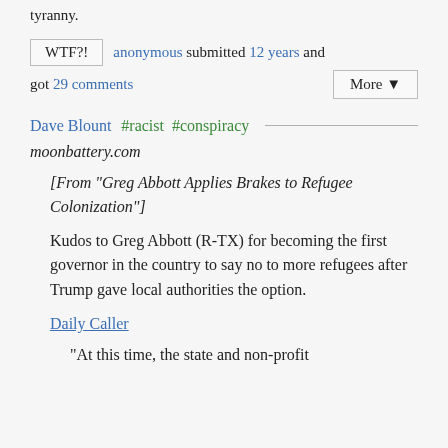tyranny.
WTF?! anonymous submitted 12 years and got 29 comments More ▼
Dave Blount #racist #conspiracy
moonbattery.com
[From "Greg Abbott Applies Brakes to Refugee Colonization"]
Kudos to Greg Abbott (R-TX) for becoming the first governor in the country to say no to more refugees after Trump gave local authorities the option.
Daily Caller
“At this time, the state and non-profit